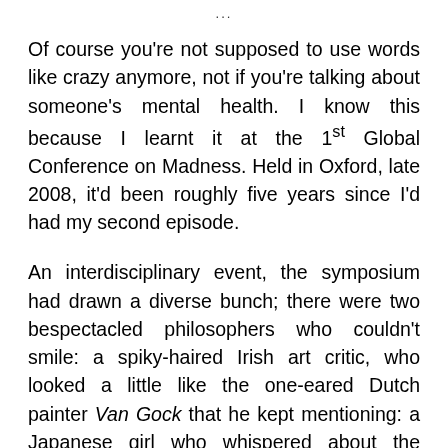Of course you're not supposed to use words like crazy anymore, not if you're talking about someone's mental health. I know this because I learnt it at the 1st Global Conference on Madness. Held in Oxford, late 2008, it'd been roughly five years since I'd had my second episode.
An interdisciplinary event, the symposium had drawn a diverse bunch; there were two bespectacled philosophers who couldn't smile: a spiky-haired Irish art critic, who looked a little like the one-eared Dutch painter Van Gock that he kept mentioning: a Japanese girl who whispered about the moon and its use in Kabuki theatre: a New York transgender performance artist who couldn't condense her paper down to ten pages, she tried